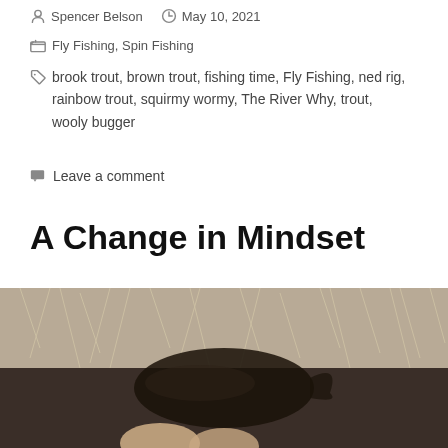Spencer Belson   May 10, 2021
Fly Fishing, Spin Fishing
brook trout, brown trout, fishing time, Fly Fishing, ned rig, rainbow trout, squirmy wormy, The River Why, trout, wooly bugger
Leave a comment
A Change in Mindset
[Figure (photo): Close-up photo of a fish (likely trout) held in hand against a background of dry grass and earth]